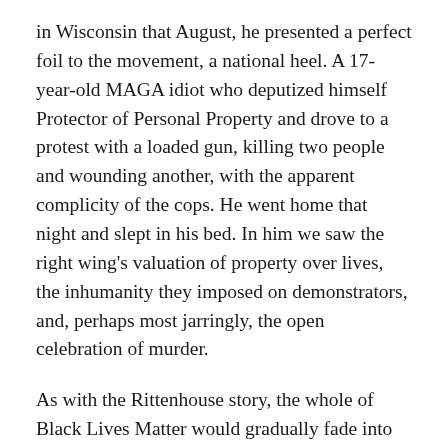in Wisconsin that August, he presented a perfect foil to the movement, a national heel. A 17-year-old MAGA idiot who deputized himself Protector of Personal Property and drove to a protest with a loaded gun, killing two people and wounding another, with the apparent complicity of the cops. He went home that night and slept in his bed. In him we saw the right wing's valuation of property over lives, the inhumanity they imposed on demonstrators, and, perhaps most jarringly, the open celebration of murder.
As with the Rittenhouse story, the whole of Black Lives Matter would gradually fade into the background as the pandemic raged on. Joe Biden got elected and the SNL/Daily Show crowd stopped caring. It wasn't useful to them anymore and they moved on to a new toy and the capitol riot was right there and it was shiny and it